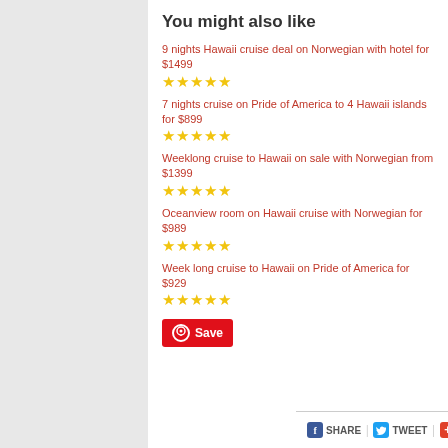You might also like
9 nights Hawaii cruise deal on Norwegian with hotel for $1499 ★★★★★
7 nights cruise on Pride of America to 4 Hawaii islands for $899 ★★★★★
Weeklong cruise to Hawaii on sale with Norwegian from $1399 ★★★★★
Oceanview room on Hawaii cruise with Norwegian for $989 ★★★★★
Week long cruise to Hawaii on Pride of America for $929 ★★★★★
Save
SHARE | TWEET | MORE | Stumble It!